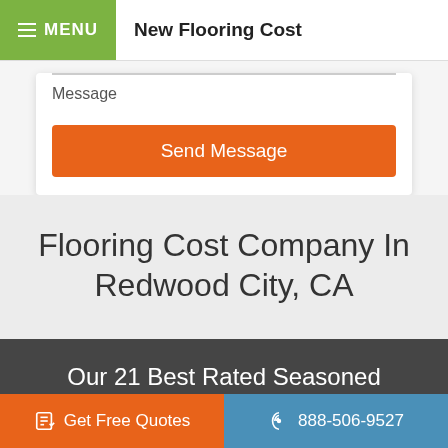MENU   New Flooring Cost
Message
Send Message
Flooring Cost Company In Redwood City, CA
Our 21 Best Rated Seasoned Professionals
Get Free Quotes
888-506-9527